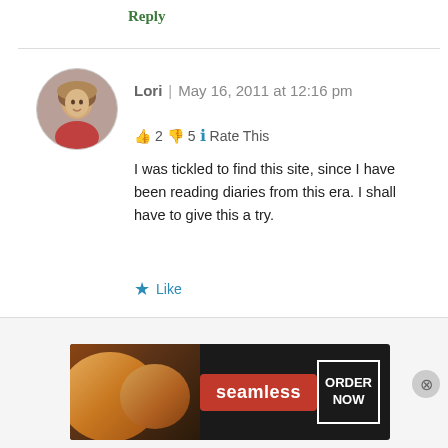Reply
[Figure (photo): Circular avatar photo of a woman with short blonde hair wearing a red top]
Lori | May 16, 2011 at 12:16 pm
👍 2 👎 5 ℹ Rate This
I was tickled to find this site, since I have been reading diaries from this era. I shall have to give this a try.
★ Like
Reply
[Figure (photo): Partial circular avatar photo at bottom of page]
Advertisements
[Figure (photo): Seamless food delivery advertisement banner with pizza image and ORDER NOW button]